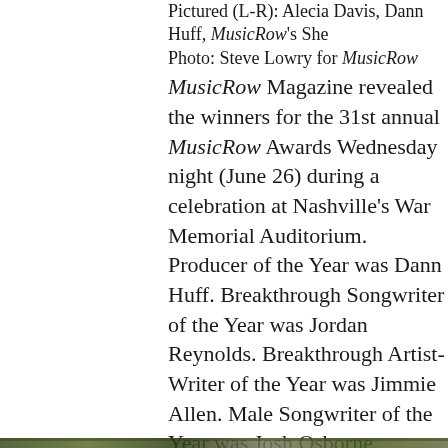Pictured (L-R): Alecia Davis, Dann Huff, MusicRow's She... Photo: Steve Lowry for MusicRow
MusicRow Magazine revealed the winners for the 31st annual MusicRow Awards Wednesday night (June 26) during a celebration at Nashville's War Memorial Auditorium. Producer of the Year was Dann Huff. Breakthrough Songwriter of the Year was Jordan Reynolds. Breakthrough Artist-Writer of the Year was Jimmie Allen. Male Songwriter of the Year was Josh Osborne. Female Songwriter of the Year was Hillary Lindsey. Song of the Year was “Girl Goin’ Nowhere” — Songwriter(s): Ashley McBryde, Jeremy Bussey.
Reservoir Announces First Signing To New Nashville Office
[Figure (photo): Partial view of an outdoor photo strip at the bottom of the page, showing green foliage/landscape in dark tones.]